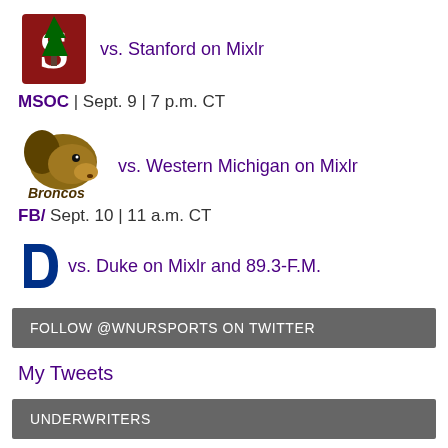[Figure (logo): Stanford Cardinal logo - block S with tree]
vs. Stanford on Mixlr
MSOC | Sept. 9 | 7 p.m. CT
[Figure (logo): Western Michigan Broncos logo]
vs. Western Michigan on Mixlr
FB/ Sept. 10 | 11 a.m. CT
[Figure (logo): Duke Blue Devils D logo]
vs. Duke on Mixlr and 89.3-F.M.
FOLLOW @WNURSPORTS ON TWITTER
My Tweets
UNDERWRITERS